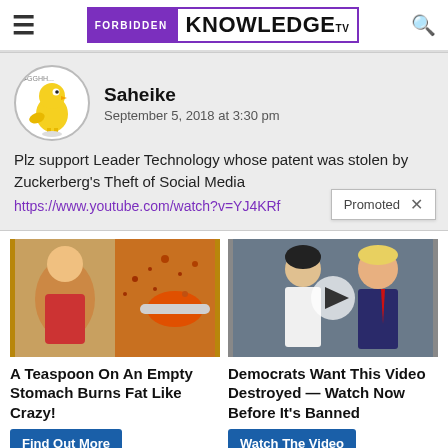FORBIDDEN KNOWLEDGE TV
Saheike
September 5, 2018 at 3:30 pm
Plz support Leader Technology whose patent was stolen by Zuckerberg's Theft of Social Media
https://www.youtube.com/watch?v=YJ4KRf
Promoted ×
[Figure (photo): Ad image: fitness person and spice on spoon]
A Teaspoon On An Empty Stomach Burns Fat Like Crazy!
Find Out More
[Figure (photo): Ad image: Melania and Donald Trump with video play button]
Democrats Want This Video Destroyed — Watch Now Before It's Banned
Watch The Video